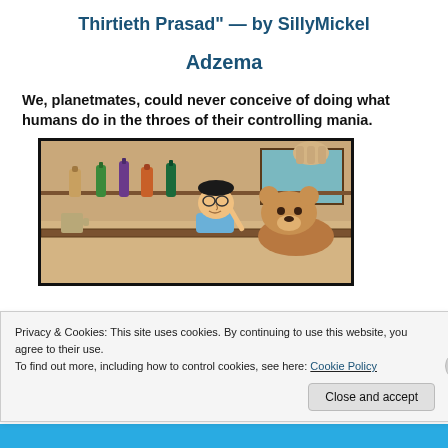Thirtieth Prasad" — by SillyMickel Adzema
We, planetmates, could never conceive of doing what humans do in the throes of their controlling mania.
[Figure (illustration): Cartoon illustration of a bar scene showing a man drinking at a bar with bottles in the background and an animal character beside him]
Privacy & Cookies: This site uses cookies. By continuing to use this website, you agree to their use.
To find out more, including how to control cookies, see here: Cookie Policy
Close and accept